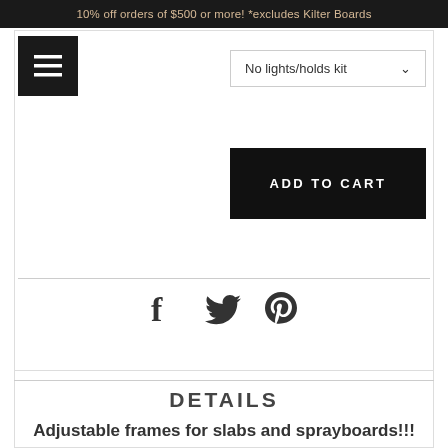10% off orders of $500 or more! *excludes Kilter Boards
[Figure (screenshot): Menu hamburger icon button (black square with white lines)]
No lights/holds kit ∨
ADD TO CART
[Figure (other): Social share icons: Facebook (f), Twitter (bird), Pinterest (P)]
DETAILS
Adjustable frames for slabs and sprayboards!!!
Another exciting collaboration with LEMUR, the adjustable slab and b...